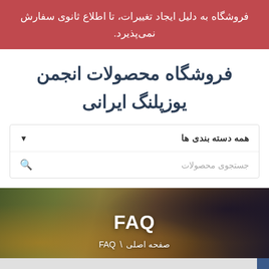فروشگاه به دلیل ایجاد تغییرات، تا اطلاع ثانوی سفارش نمی‌پذیرد.
فروشگاه محصولات انجمن یوزپلنگ ایرانی
همه دسته بندی ها
جستجوی محصولات
[Figure (photo): Background hero image with autumn leaves and dark overlay, showing FAQ heading and breadcrumb navigation صفحه اصلی \ FAQ]
FAQ
صفحه اصلی \ FAQ